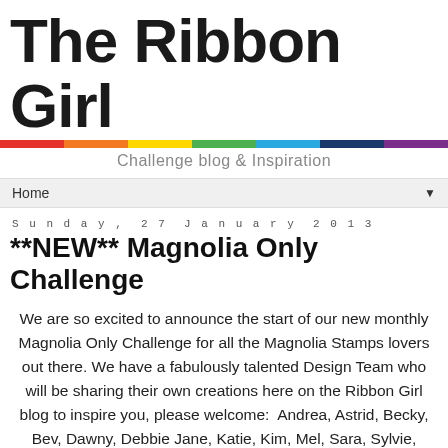[Figure (logo): The Ribbon Girl blog logo with large script/handwritten style text, rainbow colored bar beneath, and tagline 'Challenge blog & Inspiration']
Home ▼
Sunday, 27 January 2013
**NEW** Magnolia Only Challenge
We are so excited to announce the start of our new monthly Magnolia Only Challenge for all the Magnolia Stamps lovers out there. We have a fabulously talented Design Team who will be sharing their own creations here on the Ribbon Girl blog to inspire you, please welcome:  Andrea, Astrid, Becky, Bev, Dawny, Debbie Jane, Katie, Kim, Mel, Sara, Sylvie, Teresa and Tiets